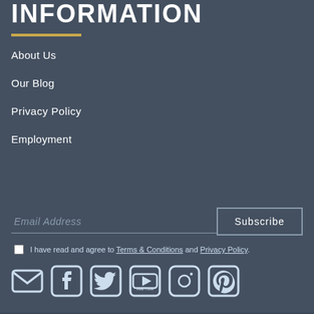INFORMATION
About Us
Our Blog
Privacy Policy
Employment
Email Address
Subscribe
I have read and agree to Terms & Conditions and Privacy Policy.
[Figure (infographic): Social media icons row: email, facebook, twitter, youtube, instagram, pinterest]